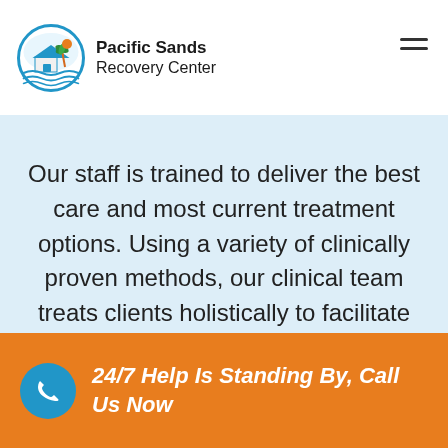[Figure (logo): Pacific Sands Recovery Center logo with house, palm tree, and waves in a circle; company name to the right]
Our staff is trained to deliver the best care and most current treatment options. Using a variety of clinically proven methods, our clinical team treats clients holistically to facilitate the transition into sober life.
[Figure (illustration): Light blue outline icon of a hand holding a heart, symbolizing care]
24/7 Help Is Standing By, Call Us Now